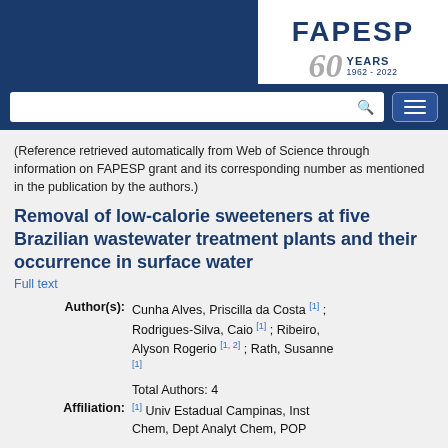[Figure (logo): FAPESP 60 Years 1962-2022 logo on white background with dark blue header navigation bar and search input]
(Reference retrieved automatically from Web of Science through information on FAPESP grant and its corresponding number as mentioned in the publication by the authors.)
Removal of low-calorie sweeteners at five Brazilian wastewater treatment plants and their occurrence in surface water
Full text
Author(s): Cunha Alves, Priscilla da Costa [1] ; Rodrigues-Silva, Caio [1] ; Ribeiro, Alyson Rogerio [1, 2] ; Rath, Susanne [1]
Total Authors: 4
Affiliation: [1] Univ Estadual Campinas, Inst Chem, Dept Analyt Chem, POP